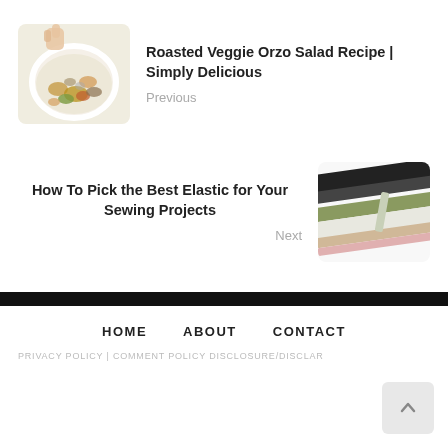[Figure (photo): Photo of roasted veggie orzo salad on a white plate, hand visible]
Roasted Veggie Orzo Salad Recipe | Simply Delicious
Previous
How To Pick the Best Elastic for Your Sewing Projects
Next
[Figure (photo): Photo of various elastic bands and strips in black, green, white, and beige colors]
HOME   ABOUT   CONTACT
PRIVACY POLICY | COMMENT POLICY DISCLOSURE/DISCLA...